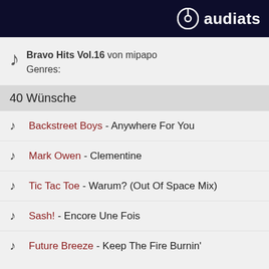audiarts
Bravo Hits Vol.16 von mipapo
Genres:
40 Wünsche
Backstreet Boys - Anywhere For You
Mark Owen - Clementine
Tic Tac Toe - Warum? (Out Of Space Mix)
Sash! - Encore Une Fois
Future Breeze - Keep The Fire Burnin'